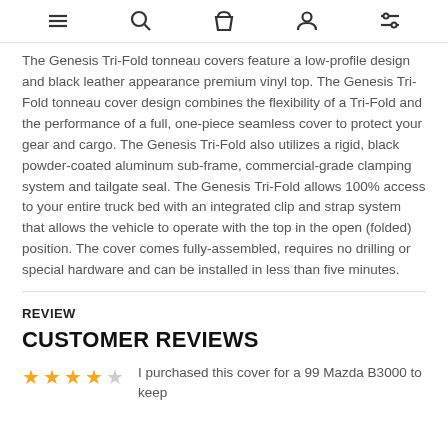[navigation icons: menu, search, cart, account, filters]
The Genesis Tri-Fold tonneau covers feature a low-profile design and black leather appearance premium vinyl top. The Genesis Tri-Fold tonneau cover design combines the flexibility of a Tri-Fold and the performance of a full, one-piece seamless cover to protect your gear and cargo. The Genesis Tri-Fold also utilizes a rigid, black powder-coated aluminum sub-frame, commercial-grade clamping system and tailgate seal. The Genesis Tri-Fold allows 100% access to your entire truck bed with an integrated clip and strap system that allows the vehicle to operate with the top in the open (folded) position. The cover comes fully-assembled, requires no drilling or special hardware and can be installed in less than five minutes.
REVIEW
CUSTOMER REVIEWS
I purchased this cover for a 99 Mazda B3000 to keep